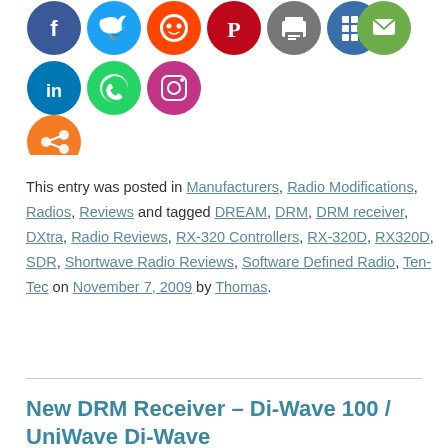[Figure (other): Row of social media sharing icon circles: Facebook, Twitter, Reddit, Pinterest, Print, Share/grid, Email, LinkedIn, WhatsApp, Instagram, and a generic share button (orange)]
This entry was posted in Manufacturers, Radio Modifications, Radios, Reviews and tagged DREAM, DRM, DRM receiver, DXtra, Radio Reviews, RX-320 Controllers, RX-320D, RX320D, SDR, Shortwave Radio Reviews, Software Defined Radio, Ten-Tec on November 7, 2009 by Thomas.
New DRM Receiver – Di-Wave 100 / UniWave Di-Wave